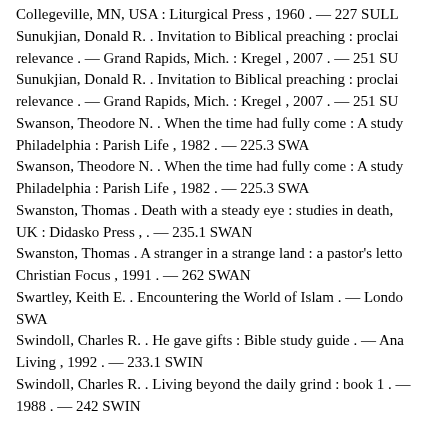Collegeville, MN, USA : Liturgical Press , 1960 . — 227 SULL
Sunukjian, Donald R. . Invitation to Biblical preaching : proclai relevance . — Grand Rapids, Mich. : Kregel , 2007 . — 251 SU
Sunukjian, Donald R. . Invitation to Biblical preaching : proclai relevance . — Grand Rapids, Mich. : Kregel , 2007 . — 251 SU
Swanson, Theodore N. . When the time had fully come : A study Philadelphia : Parish Life , 1982 . — 225.3 SWA
Swanson, Theodore N. . When the time had fully come : A study Philadelphia : Parish Life , 1982 . — 225.3 SWA
Swanston, Thomas . Death with a steady eye : studies in death, UK : Didasko Press , . — 235.1 SWAN
Swanston, Thomas . A stranger in a strange land : a pastor's lette Christian Focus , 1991 . — 262 SWAN
Swartley, Keith E. . Encountering the World of Islam . — Londo SWA
Swindoll, Charles R. . He gave gifts : Bible study guide . — Ana Living , 1992 . — 233.1 SWIN
Swindoll, Charles R. . Living beyond the daily grind : book 1 . — 1988 . — 242 SWIN